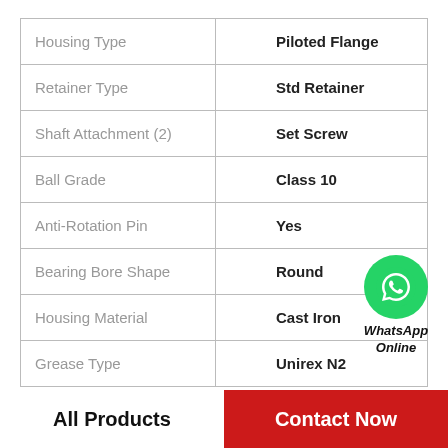| Property | Value |
| --- | --- |
| Housing Type | Piloted Flange |
| Retainer Type | Std Retainer |
| Shaft Attachment (2) | Set Screw |
| Ball Grade | Class 10 |
| Anti-Rotation Pin | Yes |
| Bearing Bore Shape | Round |
| Housing Material | Cast Iron |
| Grease Type | Unirex N2 |
[Figure (logo): WhatsApp Online badge — green circle with phone icon, text 'WhatsApp Online']
All Products
Contact Now